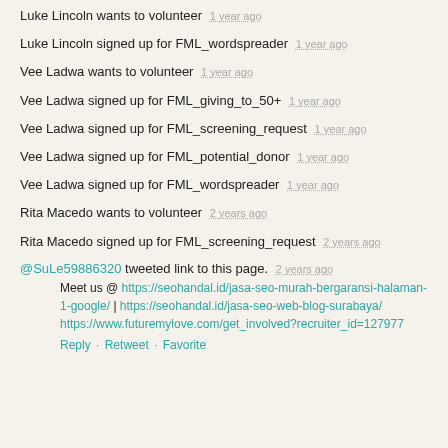Luke Lincoln wants to volunteer  1 year ago
Luke Lincoln signed up for FML_wordspreader  1 year ago
Vee Ladwa wants to volunteer  1 year ago
Vee Ladwa signed up for FML_giving_to_50+  1 year ago
Vee Ladwa signed up for FML_screening_request  1 year ago
Vee Ladwa signed up for FML_potential_donor  1 year ago
Vee Ladwa signed up for FML_wordspreader  1 year ago
Rita Macedo wants to volunteer  2 years ago
Rita Macedo signed up for FML_screening_request  2 years ago
@SuLe59886320 tweeted link to this page.  2 years ago
Meet us @ https://seohandal.id/jasa-seo-murah-bergaransi-halaman-1-google/ | https://seohandal.id/jasa-seo-web-blog-surabaya/ https://www.futuremylove.com/get_involved?recruiter_id=127977
Reply · Retweet · Favorite